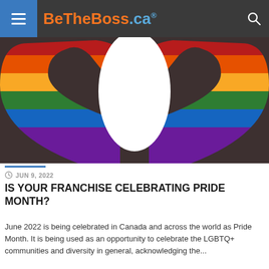BeTheBoss.ca
[Figure (illustration): Pride Month logo showing a heart shape with rainbow stripes (red, orange, yellow, green, blue, purple) on a dark background. The heart is formed by two curved rainbow-striped arcs with a white space in the middle.]
JUN 9, 2022
IS YOUR FRANCHISE CELEBRATING PRIDE MONTH?
June 2022 is being celebrated in Canada and across the world as Pride Month. It is being used as an opportunity to celebrate the LGBTQ+ communities and diversity in general, acknowledging the...